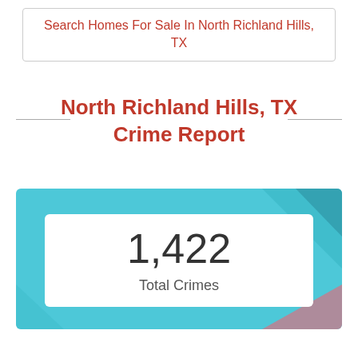Search Homes For Sale In North Richland Hills, TX
North Richland Hills, TX Crime Report
[Figure (infographic): Cyan/teal background card with decorative geometric shapes in the corners, containing a white rounded rectangle stat card showing '1,422 Total Crimes']